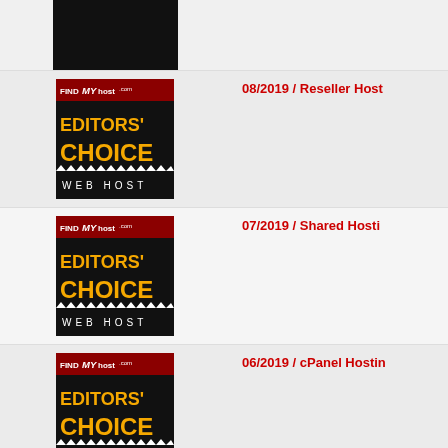[Figure (logo): FindMyHost.com Editors' Choice Web Host badge - partially visible at top]
[Figure (logo): FindMyHost.com Editors' Choice Web Host badge - 08/2019 Reseller Hosting]
08/2019 / Reseller Host...
[Figure (logo): FindMyHost.com Editors' Choice Web Host badge - 07/2019 Shared Hosting]
07/2019 / Shared Hosti...
[Figure (logo): FindMyHost.com Editors' Choice Web Host badge - 06/2019 cPanel Hosting]
06/2019 / cPanel Hostin...
[Figure (logo): FindMyHost.com Editors' Choice Web Host badge - 04/2019 cPanel Hosting (partial)]
04/2019 / cPanel Hostin...